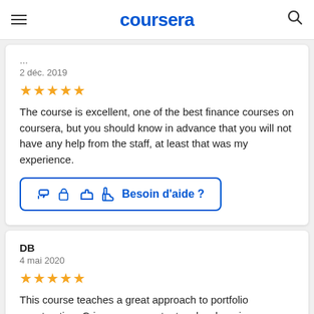coursera
2 déc. 2019
[Figure (other): 5-star rating (gold stars)]
The course is excellent, one of the best finance courses on coursera, but you should know in advance that you will not have any help from the staff, at least that was my experience.
Besoin d'aide ?
DB
4 mai 2020
[Figure (other): 5-star rating (gold stars)]
This course teaches a great approach to portfolio construction. Crisp course content makes learning…